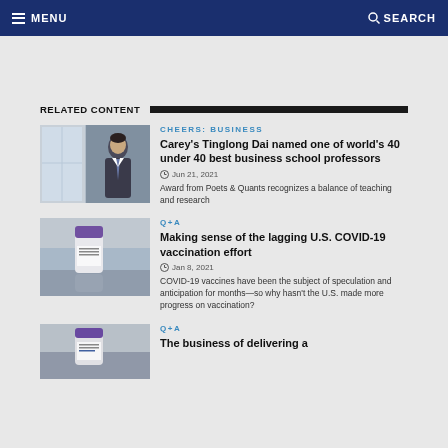MENU | SEARCH
RELATED CONTENT
[Figure (photo): Photo of Tinglong Dai, a man in a suit standing in an office building]
CHEERS: BUSINESS
Carey's Tinglong Dai named one of world's 40 under 40 best business school professors
Jun 21, 2021
Award from Poets & Quants recognizes a balance of teaching and research
[Figure (photo): Photo of a COVID-19 vaccine vial with purple cap on a reflective surface]
Q+A
Making sense of the lagging U.S. COVID-19 vaccination effort
Jan 8, 2021
COVID-19 vaccines have been the subject of speculation and anticipation for months—so why hasn't the U.S. made more progress on vaccination?
[Figure (photo): Photo of a COVID-19 vaccine vial]
Q+A
The business of delivering a